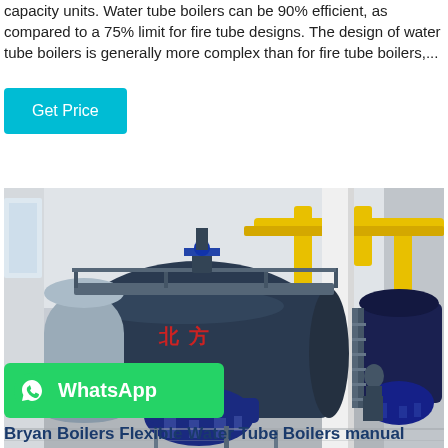capacity units. Water tube boilers can be 90% efficient, as compared to a 75% limit for fire tube designs. The design of water tube boilers is generally more complex than for fire tube boilers,...
[Figure (other): A teal/cyan 'Get Price' button]
[Figure (photo): Industrial boiler room with large dark blue cylindrical fire tube boilers, yellow overhead pipes, metal walkways, and a worker visible in the background. Industrial facility interior.]
[Figure (logo): WhatsApp logo and text overlay on green rounded rectangle background]
Bryan Boilers Flexible Water Tube Boilers manual
Bryan Boilers Flexible Water Tube Boilers manual - The Exclusive